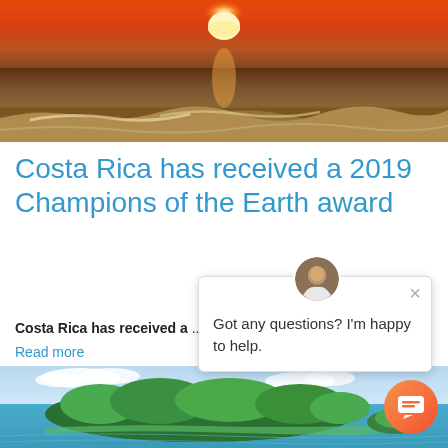[Figure (photo): Sunset over ocean with waves crashing, orange sky and sun on horizon]
Costa Rica has received a 2019 Champions of the Earth award
Costa Rica has received a ... the UN's highest environmen...
Read more
[Figure (screenshot): Chat widget popup with avatar, close button, and message 'Got any questions? I'm happy to help.']
[Figure (photo): Tropical island with lush green vegetation and turquoise ocean water, small island in background]